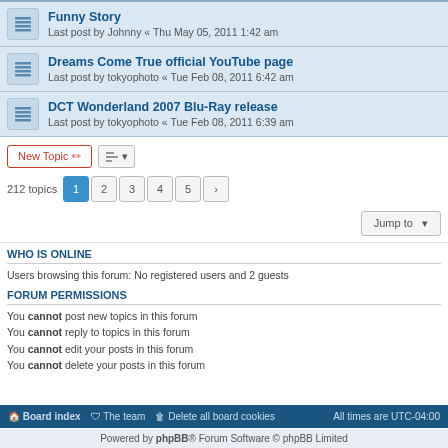Funny Story - Last post by Johnny « Thu May 05, 2011 1:42 am
Dreams Come True official YouTube page - Last post by tokyophoto « Tue Feb 08, 2011 6:42 am
DCT Wonderland 2007 Blu-Ray release - Last post by tokyophoto « Tue Feb 08, 2011 6:39 am
212 topics  1 2 3 4 5 >
WHO IS ONLINE
Users browsing this forum: No registered users and 2 guests
FORUM PERMISSIONS
You cannot post new topics in this forum
You cannot reply to topics in this forum
You cannot edit your posts in this forum
You cannot delete your posts in this forum
Board index  The team  Delete all board cookies  All times are UTC-04:00
Powered by phpBB® Forum Software © phpBB Limited